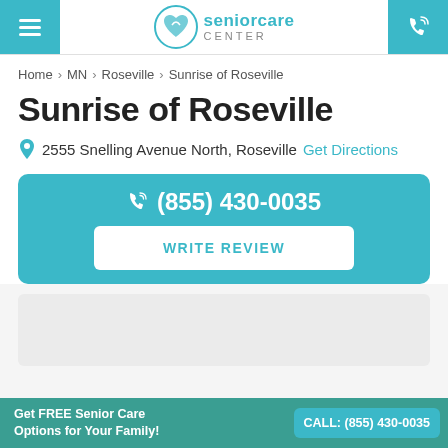Senior Care Center — navigation header
Home > MN > Roseville > Sunrise of Roseville
Sunrise of Roseville
2555 Snelling Avenue North, Roseville  Get Directions
(855) 430-0035
WRITE REVIEW
[Figure (map): Map placeholder area showing location of Sunrise of Roseville]
Get FREE Senior Care Options for Your Family!  CALL: (855) 430-0035